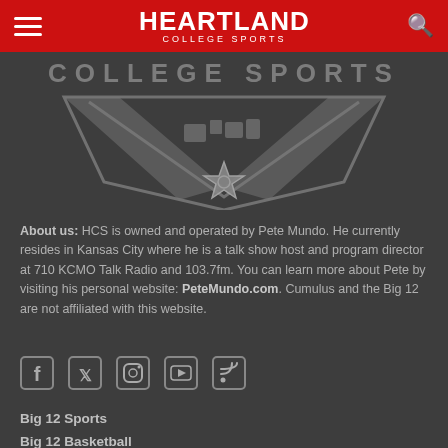Heartland College Sports
[Figure (logo): Heartland College Sports logo: gray triangle/chevron shape with state outlines and a star, text 'COLLEGE SPORTS' above]
About us: HCS is owned and operated by Pete Mundo. He currently resides in Kansas City where he is a talk show host and program director at 710 KCMO Talk Radio and 103.7fm. You can learn more about Pete by visiting his personal website: PeteMundo.com. Cumulus and the Big 12 are not affiliated with this website.
[Figure (infographic): Social media icons: Facebook, Twitter, Instagram, YouTube, RSS feed]
Big 12 Sports
Big 12 Basketball